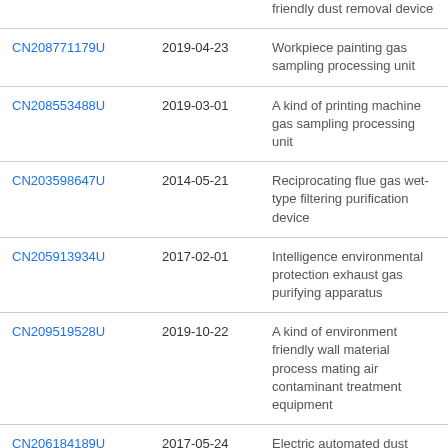|  |  | friendly dust removal device |
| CN208771179U | 2019-04-23 | Workpiece painting gas sampling processing unit |
| CN208553488U | 2019-03-01 | A kind of printing machine gas sampling processing unit |
| CN203598647U | 2014-05-21 | Reciprocating flue gas wet-type filtering purification device |
| CN205913934U | 2017-02-01 | Intelligence environmental protection exhaust gas purifying apparatus |
| CN209519528U | 2019-10-22 | A kind of environment friendly wall material process mating air contaminant treatment equipment |
| CN206184189U | 2017-05-24 | Electric automated dust removal device |
| CN202751908U | 2013-02-27 | Dust collection device of |